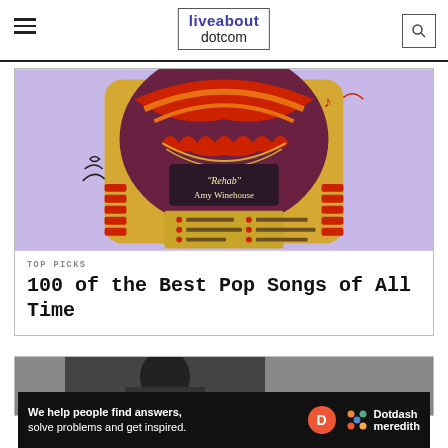liveabout dotcom
[Figure (illustration): Colorful jukebox illustration with 'Rehab' Amy Winehouse displayed on the screen, with musical notes and decorative elements.]
TOP PICKS
100 of the Best Pop Songs of All Time
[Figure (photo): Partial view of a second article card showing a dark photo, partially visible.]
We help people find answers, solve problems and get inspired.
Dotdash meredith